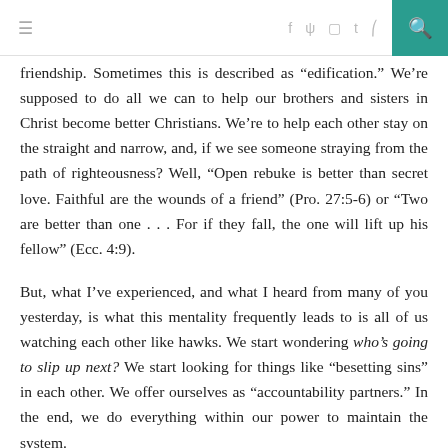≡  f  ψ  ▣  t  )))  🔍
friendship. Sometimes this is described as “edification.” We’re supposed to do all we can to help our brothers and sisters in Christ become better Christians. We’re to help each other stay on the straight and narrow, and, if we see someone straying from the path of righteousness? Well, “Open rebuke is better than secret love. Faithful are the wounds of a friend” (Pro. 27:5-6) or “Two are better than one . . . For if they fall, the one will lift up his fellow” (Ecc. 4:9).
But, what I’ve experienced, and what I heard from many of you yesterday, is what this mentality frequently leads to is all of us watching each other like hawks. We start wondering who’s going to slip up next? We start looking for things like “besetting sins” in each other. We offer ourselves as “accountability partners.” In the end, we do everything within our power to maintain the system.
A reader, David, wrote a comment yesterday that I thought made